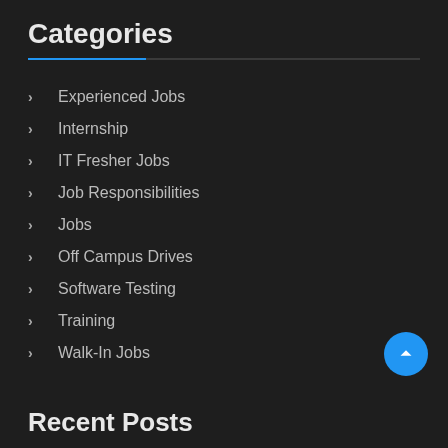Categories
Experienced Jobs
Internship
IT Fresher Jobs
Job Responsibilities
Jobs
Off Campus Drives
Software Testing
Training
Walk-In Jobs
Recent Posts